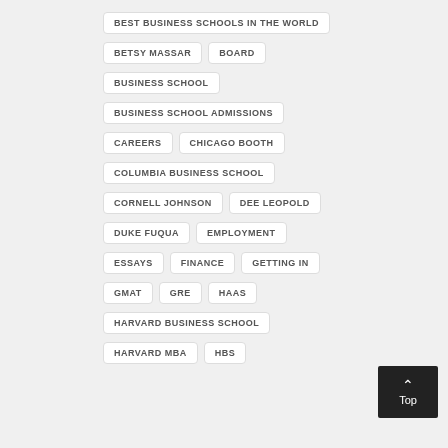BEST BUSINESS SCHOOLS IN THE WORLD
BETSY MASSAR
BOARD
BUSINESS SCHOOL
BUSINESS SCHOOL ADMISSIONS
CAREERS
CHICAGO BOOTH
COLUMBIA BUSINESS SCHOOL
CORNELL JOHNSON
DEE LEOPOLD
DUKE FUQUA
EMPLOYMENT
ESSAYS
FINANCE
GETTING IN
GMAT
GRE
HAAS
HARVARD BUSINESS SCHOOL
HARVARD MBA
HBS